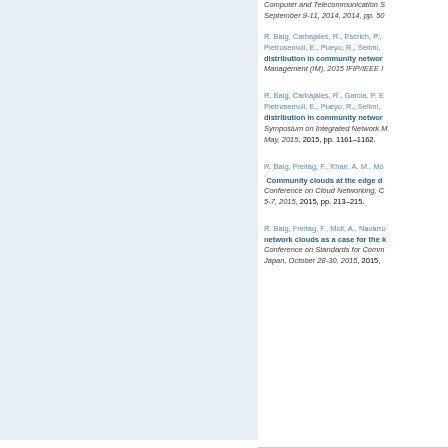Computer and Telecommunication S September 9-11, 2014, 2014, pp. 50
R. Baig, Carbajales, R., Escrich, P., Pietrosemoli, E., Pueyo, R., Selimi, distribution in community networ Management (IM), 2015 IFIP/IEEE I
R. Baig, Carbajales, R., Garcia, P. E Pietrosemoli, E., Pueyo, R., Selimi, distribution in community networ Symposium on Integrated Network M May, 2015, 2015, pp. 1161–1162.
R. Baig, Freitag, F., Khan, A. M., Mo °Community clouds at the edge d Conference on Cloud Networking, C 5-7, 2015, 2015, pp. 213–215.
R. Baig, Freitag, F., Moll, A., Navarro network clouds as a case for the k Conference on Standards for Comm Japan, October 28-30, 2015, 2015,